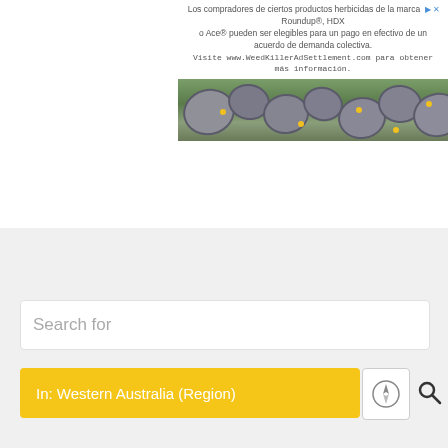[Figure (screenshot): Advertisement banner for Roundup/HDX/Ace herbicide class action lawsuit settlement in Spanish. Text reads: 'Los compradores de ciertos productos herbicidas de la marca Roundup®, HDX o Ace® pueden ser elegibles para un pago en efectivo de un acuerdo de demanda colectiva. Visite www.WeedKillerAdSettlement.com para obtener más información.' Below the text is a photo of stone path with yellow flowers and green weeds.]
Real Estate
Search for
In: Western Australia (Region)